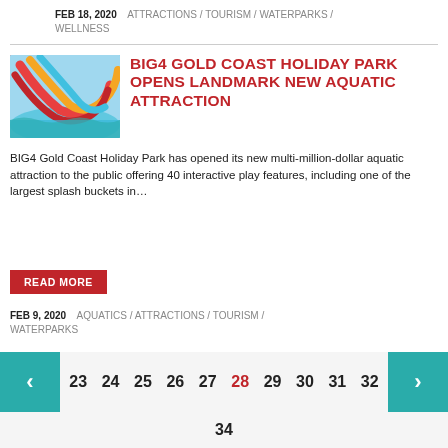FEB 18, 2020  ATTRACTIONS / TOURISM / WATERPARKS / WELLNESS
[Figure (photo): Colorful water park slides and equipment in bright red, orange, and blue]
BIG4 GOLD COAST HOLIDAY PARK OPENS LANDMARK NEW AQUATIC ATTRACTION
BIG4 Gold Coast Holiday Park has opened its new multi-million-dollar aquatic attraction to the public offering 40 interactive play features, including one of the largest splash buckets in…
READ MORE
FEB 9, 2020  AQUATICS / ATTRACTIONS / TOURISM / WATERPARKS
23  24  25  26  27  28  29  30  31  32  34